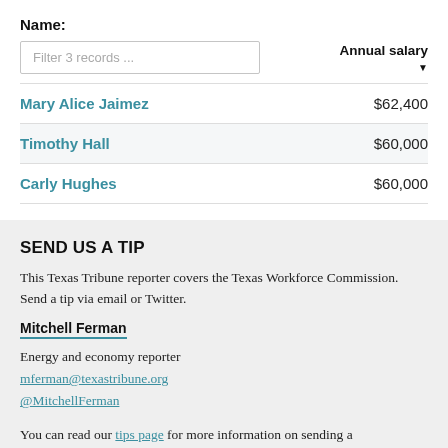Name:
| Name | Annual salary |
| --- | --- |
| Mary Alice Jaimez | $62,400 |
| Timothy Hall | $60,000 |
| Carly Hughes | $60,000 |
SEND US A TIP
This Texas Tribune reporter covers the Texas Workforce Commission. Send a tip via email or Twitter.
Mitchell Ferman
Energy and economy reporter
mferman@texastribune.org
@MitchellFerman
You can read our tips page for more information on sending a